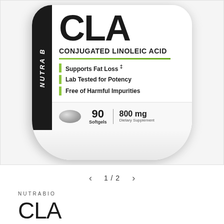[Figure (photo): Product photo of NutraBio CLA (Conjugated Linoleic Acid) supplement bottle, 90 Softgels, 800mg Dietary Supplement. White bottle with black label showing green accent bars, bullet points: Supports Fat Loss, Lab Tested for Potency, Free of Harmful Impurities.]
1 / 2
NUTRABIO
CLA